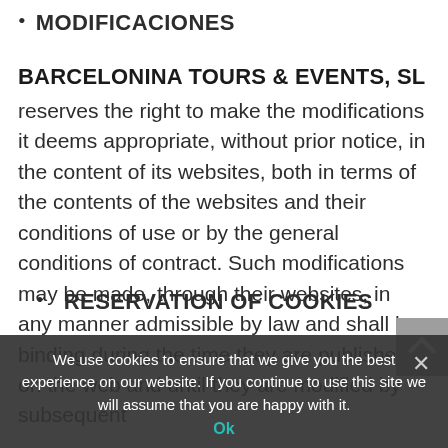MODIFICACIONES
BARCELONINA TOURS & EVENTS, SL
reserves the right to make the modifications it deems appropriate, without prior notice, in the content of its websites, both in terms of the contents of the websites and their conditions of use or by the general conditions of contract. Such modifications may be made, through their websites, in any manner admissible by law and shall be binding during the time they are published on the web and until they are modified by subsequent
RESERVATION OF COOKIES
We use cookies to ensure that we give you the best experience on our website. If you continue to use this site we will assume that you are happy with it.
Ok